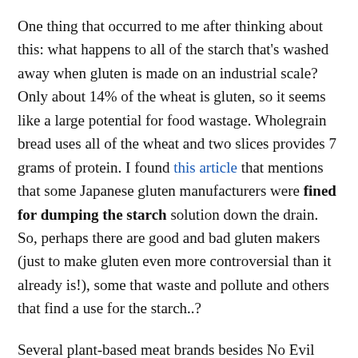One thing that occurred to me after thinking about this: what happens to all of the starch that's washed away when gluten is made on an industrial scale? Only about 14% of the wheat is gluten, so it seems like a large potential for food wastage. Wholegrain bread uses all of the wheat and two slices provides 7 grams of protein. I found this article that mentions that some Japanese gluten manufacturers were fined for dumping the starch solution down the drain. So, perhaps there are good and bad gluten makers (just to make gluten even more controversial than it already is!), some that waste and pollute and others that find a use for the starch..?
Several plant-based meat brands besides No Evil Foods (Tofurky, Lightlife, Gardein, and Field Roast, to